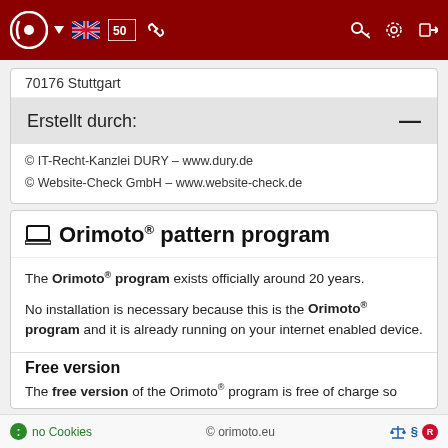Navigation bar with logo, UK flag, icons, key, settings, login
70176 Stuttgart
Erstellt durch: —
© IT-Recht-Kanzlei DURY - www.dury.de
© Website-Check GmbH - www.website-check.de
Orimoto® pattern program
The Orimoto® program exists officially around 20 years.
No installation is necessary because this is the Orimoto® program and it is already running on your internet enabled device.
Free version
The free version of the Orimoto® program is free of charge so
no Cookies   © orimoto.eu   [icons]